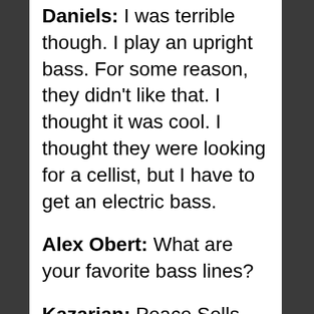Daniels: I was terrible though. I play an upright bass. For some reason, they didn't like that. I thought it was cool. I thought they were looking for a cellist, but I have to get an electric bass.
Alex Obert: What are your favorite bass lines?
Kazarian: Peace Sells, But Who's Buying? by Megadeth is one of the first that comes to mind. My Friend Of Misery by Metallica, the start is all bass-driven. Anything by Primus. Les Claypool is an amazing bassist. He does some incredible things on that